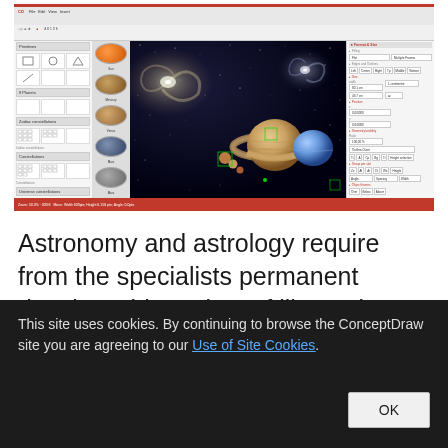[Figure (screenshot): Screenshot of an astronomy/astrology software application (ConceptDraw) showing planets including Saturn with rings, a blue planet, galaxies, and smaller celestial bodies against a dark space background. The interface shows toolbars, left panel with shape libraries, thumbnail strip with planet images, and right properties panel.]
Astronomy and astrology require from the specialists permanent drawing wide variety of illustrations, sketches. It's convenient for
This site uses cookies. By continuing to browse the ConceptDraw site you are agreeing to our Use of Site Cookies.
OK